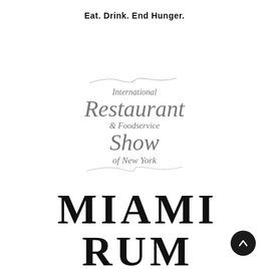Eat. Drink. End Hunger.
[Figure (logo): International Restaurant & Foodservice Show of New York logo with decorative swirl elements and serif italic typography in gray]
[Figure (logo): MIAMI RUM text logo in large bold serif black letters]
[Figure (other): Dark circular scroll-to-top button with upward arrow icon in bottom-right corner]